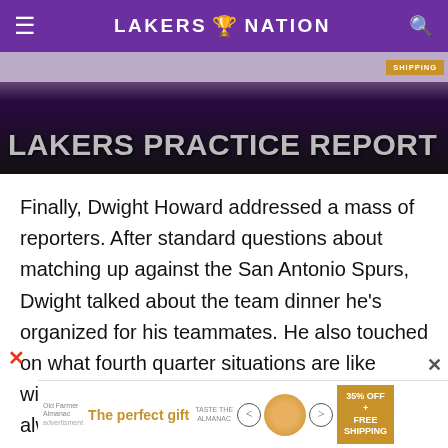LAKERS NATION
[Figure (photo): Lakers Practice Report banner image with dark purple/black background and large grey text reading LAKERS PRACTICE REPORT]
Finally, Dwight Howard addressed a mass of reporters. After standard questions about matching up against the San Antonio Spurs, Dwight talked about the team dinner he’s organized for his teammates. He also touched on what fourth quarter situations are like without the Black Mamba and how he’s always dreamt about hitting that
[Figure (photo): Bottom advertisement: The perfect gift with bowl image and 35% OFF + FREE SHIPPING badge]